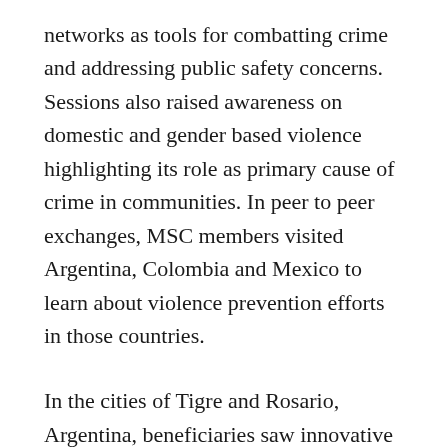networks as tools for combatting crime and addressing public safety concerns. Sessions also raised awareness on domestic and gender based violence highlighting its role as primary cause of crime in communities. In peer to peer exchanges, MSC members visited Argentina, Colombia and Mexico to learn about violence prevention efforts in those countries.
In the cities of Tigre and Rosario, Argentina, beneficiaries saw innovative crime prevention approaches in action. Junin's citizen protection program, Abuelos Conectados (Connected Grandfathers) uses recycled pre-paid cellphones to help prevent violence against the elderly. Junín city officials call participants on a daily basis to